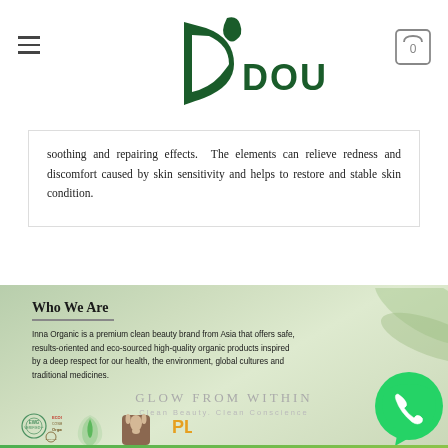DOUQU - navigation header with logo and cart
soothing and repairing effects. The elements can relieve redness and discomfort caused by skin sensitivity and helps to restore and stable skin condition.
Who We Are
Inna Organic is a premium clean beauty brand from Asia that offers safe, results-oriented and eco-sourced high-quality organic products inspired by a deep respect for our health, the environment, global cultures and traditional medicines.
GLOW FROM WITHIN
Clean Beauty. Clean Conscience
[Figure (logo): Certification badges: EWG Verified, COSMOS Organic, Toxin Free leaf logo, Cruelty Free rabbit logo, and partially visible badge]